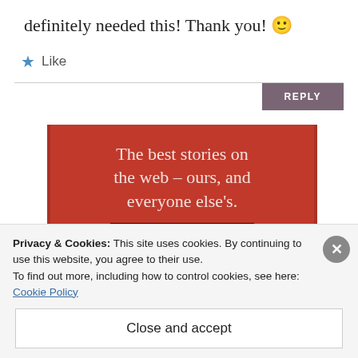definitely needed this! Thank you! 🙂
★ Like
REPLY
[Figure (infographic): Red banner advertisement reading 'The best stories on the web – ours, and everyone else's.' with a dark 'Start reading' button]
Privacy & Cookies: This site uses cookies. By continuing to use this website, you agree to their use.
To find out more, including how to control cookies, see here:
Cookie Policy
Close and accept